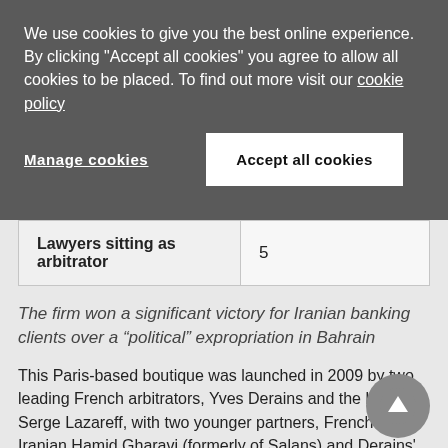We use cookies to give you the best online experience. By clicking "Accept all cookies" you agree to allow all cookies to be placed. To find out more visit our cookie policy
Manage cookies
Accept all cookies
| Lawyers sitting as arbitrator | 5 |
The firm won a significant victory for Iranian banking clients over a “political” expropriation in Bahrain
This Paris-based boutique was launched in 2009 by two leading French arbitrators, Yves Derains and the late Serge Lazareff, with two younger partners, French–Iranian Hamid Gharavi (formerly of Salans) and Derains' son